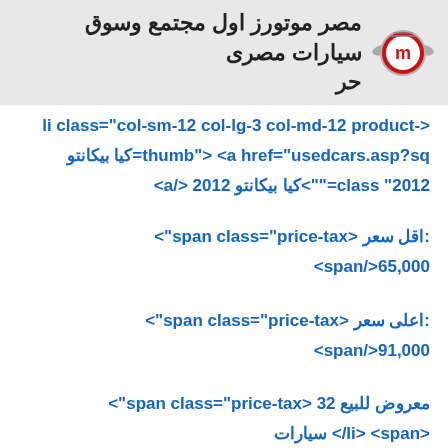مصر موتورز اول مجتمع وسوق سيارات مصرى حر
li class="col-sm-12 col-lg-3 col-md-12 product-> كيا بيكانتو=thumb"> <a href="usedcars.asp?sq <a/> 2012 كيا بيكانتو<""=class "2012
<span class="price-tax> اقل سعر: <span/>65,000
<span class="price-tax> اعلى سعر: <span/>91,000
<span class="price-tax> معروض للبيع 32 سيارات </li> <span>